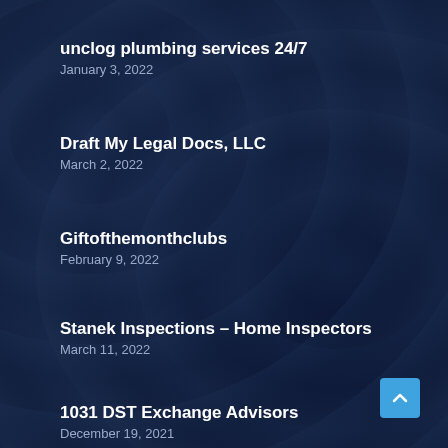unclog plumbing services 24/7
January 3, 2022
Draft My Legal Docs, LLC
March 2, 2022
Giftofthemonthclubs
February 9, 2022
Stanek Inspections – Home Inspectors
March 11, 2022
1031 DST Exchange Advisors
December 19, 2021